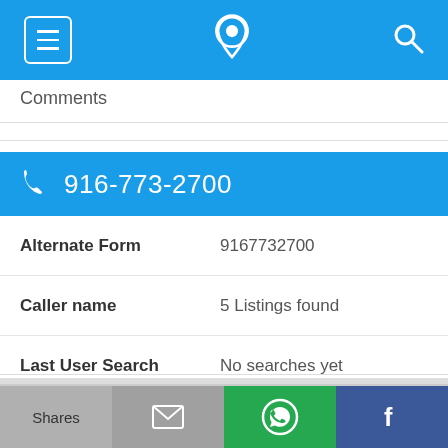[Figure (screenshot): Mobile app top navigation bar with hamburger menu icon, phone/location icon, and search icon on blue background]
Comments
[Figure (screenshot): Blue bar showing phone number 916-773-2700 with phone icon]
| Field | Value |
| --- | --- |
| Alternate Form | 9167732700 |
| Caller name | 5 Listings found |
| Last User Search | No searches yet |
| Comments |  |
[Figure (screenshot): Partial blue bar showing phone number 916-773-2773]
[Figure (screenshot): Bottom share bar with Shares, email, WhatsApp, and Facebook buttons]